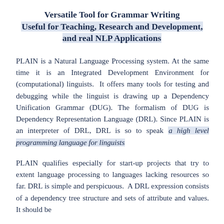Versatile Tool for Grammar Writing Useful for Teaching, Research and Development, and real NLP Applications
PLAIN is a Natural Language Processing system. At the same time it is an Integrated Development Environment for (computational) linguists. It offers many tools for testing and debugging while the linguist is drawing up a Dependency Unification Grammar (DUG). The formalism of DUG is Dependency Representation Language (DRL). Since PLAIN is an interpreter of DRL, DRL is so to speak a high level programming language for linguists
PLAIN qualifies especially for start-up projects that try to extent language processing to languages lacking resources so far. DRL is simple and perspicuous. A DRL expression consists of a dependency tree structure and sets of attribute and values. It should be